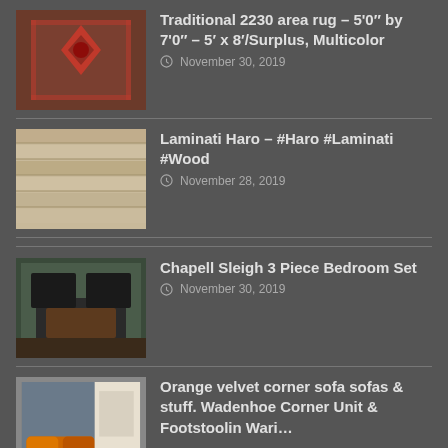Traditional 2230 area rug – 5'0" by 7'0" – 5' x 8'/Surplus, Multicolor
November 30, 2019
Laminati Haro – #Haro #Laminati #Wood
November 28, 2019
Chapell Sleigh 3 Piece Bedroom Set
November 30, 2019
Orange velvet corner sofa sofas & stuff. Wadenhoe Corner Unit & Footstoolin Wari…
November 30, 2019
Koliai Teppich 150×295 Persischer TeppichCarpetvista.de
November 30, 2019